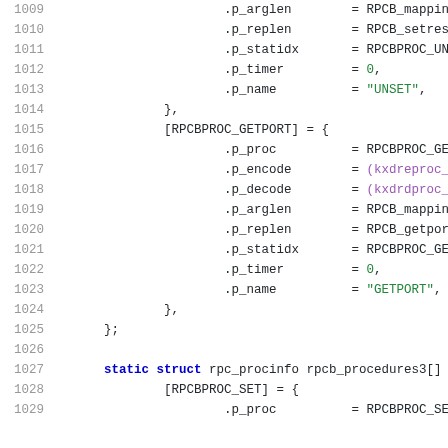[Figure (screenshot): Source code listing showing C struct initialization for RPC procedure info, lines 1009-1029, with syntax highlighting. Fields include .p_arglen, .p_replen, .p_statidx, .p_timer, .p_name for RPCBPROC_GETPORT and rpcb_procedures3 entries.]